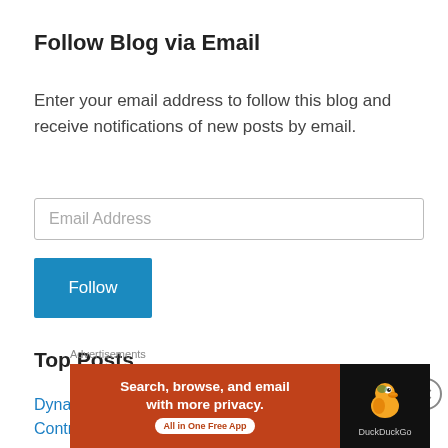Follow Blog via Email
Enter your email address to follow this blog and receive notifications of new posts by email.
Email Address
Follow
Top Posts
Dynamic Robert Devereux Earl of Essex, Elizabeth I's Controversial Favourite - Astrology Musings
Advertisements
[Figure (screenshot): DuckDuckGo advertisement banner with orange background reading 'Search, browse, and email with more privacy. All in One Free App' with DuckDuckGo logo on dark right panel]